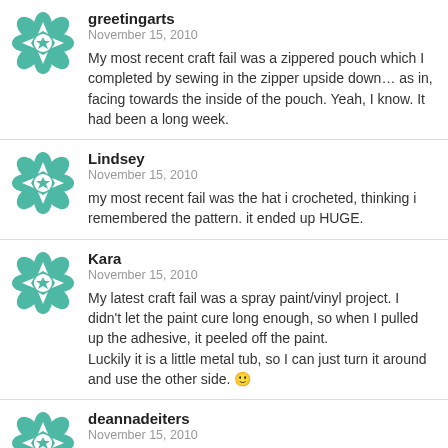[Figure (logo): Teal decorative flower/geometric avatar icon for greetingarts]
greetingarts
November 15, 2010
My most recent craft fail was a zippered pouch which I completed by sewing in the zipper upside down... as in, facing towards the inside of the pouch. Yeah, I know. It had been a long week.
[Figure (logo): Teal decorative flower/geometric avatar icon for Lindsey]
Lindsey
November 15, 2010
my most recent fail was the hat i crocheted, thinking i remembered the pattern. it ended up HUGE.
[Figure (logo): Teal decorative flower/geometric avatar icon for Kara]
Kara
November 15, 2010
My latest craft fail was a spray paint/vinyl project. I didn't let the paint cure long enough, so when I pulled up the adhesive, it peeled off the paint.
Luckily it is a little metal tub, so I can just turn it around and use the other side. 🙂
[Figure (logo): Teal decorative flower/geometric avatar icon for deannadeiters]
deannadeiters
November 15, 2010